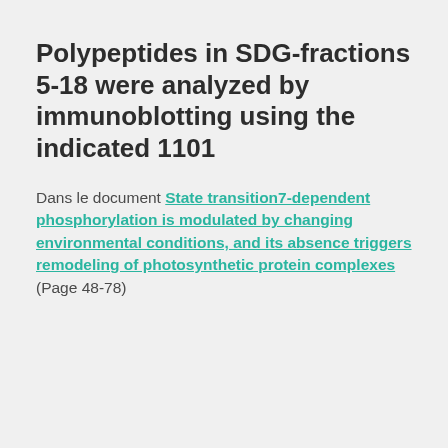Polypeptides in SDG-fractions 5-18 were analyzed by immunoblotting using the indicated 1101
Dans le document State transition7-dependent phosphorylation is modulated by changing environmental conditions, and its absence triggers remodeling of photosynthetic protein complexes (Page 48-78)